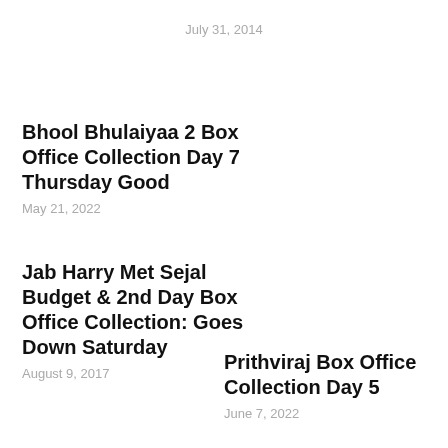July 31, 2014
Bhool Bhulaiyaa 2 Box Office Collection Day 7 Thursday Good
May 21, 2022
Jab Harry Met Sejal Budget & 2nd Day Box Office Collection: Goes Down Saturday
August 9, 2017
Prithviraj Box Office Collection Day 5
June 7, 2022